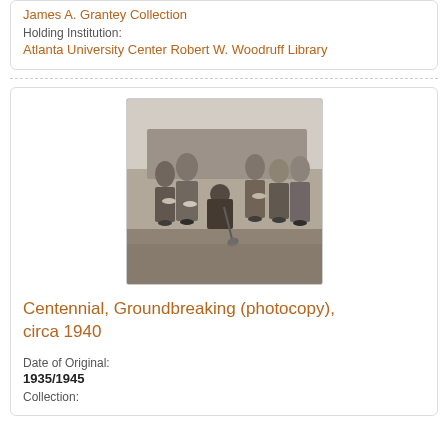James A. Grantey Collection
Holding Institution:
Atlanta University Center Robert W. Woodruff Library
[Figure (photo): Black and white photograph of a group of men outdoors at what appears to be a groundbreaking ceremony, circa 1940. A man in the center is bent over using a shovel or spade while others stand holding hats.]
Centennial, Groundbreaking (photocopy), circa 1940
Date of Original:
1935/1945
Collection: